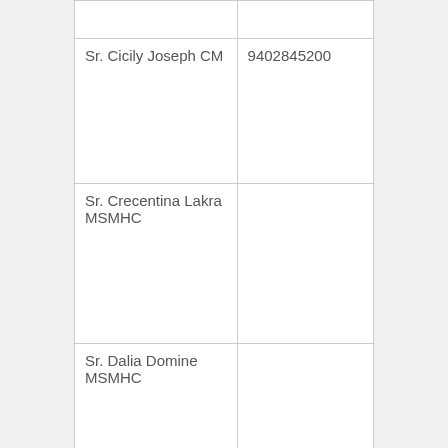|  |  |
| Sr. Cicily Joseph CM | 9402845200 |
| Sr. Crecentina Lakra MSMHC |  |
| Sr. Dalia Domine MSMHC |  |